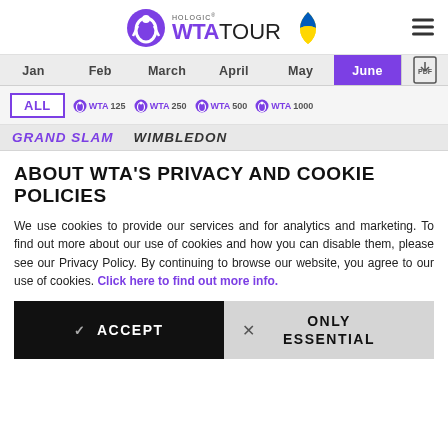Hologic WTA TOUR
Jan | Feb | March | April | May | June
ALL | WTA125 | WTA250 | WTA500 | WTA1000
GRAND SLAM  WIMBLEDON
ABOUT WTA'S PRIVACY AND COOKIE POLICIES
We use cookies to provide our services and for analytics and marketing. To find out more about our use of cookies and how you can disable them, please see our Privacy Policy. By continuing to browse our website, you agree to our use of cookies. Click here to find out more info.
✓  ACCEPT
×  ONLY ESSENTIAL